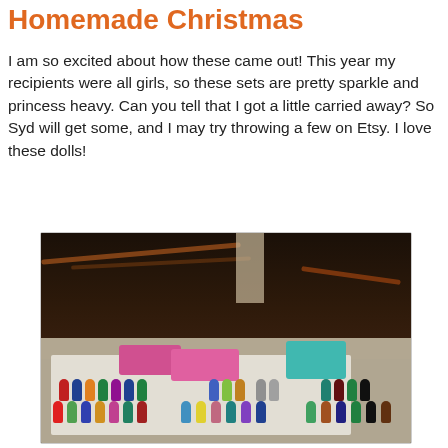Homemade Christmas
I am so excited about how these came out! This year my recipients were all girls, so these sets are pretty sparkle and princess heavy. Can you tell that I got a little carried away? So Syd will get some, and I may try throwing a few on Etsy. I love these dolls!
[Figure (photo): Photo of many colorful handmade peg dolls arranged on a white surface, with pink and teal storage boxes, shot indoors on a dark wooden floor background.]